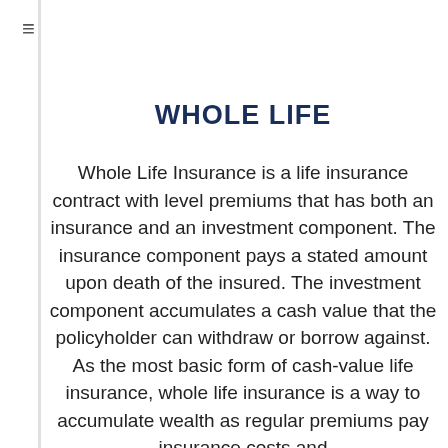WHOLE LIFE
Whole Life Insurance is a life insurance contract with level premiums that has both an insurance and an investment component. The insurance component pays a stated amount upon death of the insured. The investment component accumulates a cash value that the policyholder can withdraw or borrow against. As the most basic form of cash-value life insurance, whole life insurance is a way to accumulate wealth as regular premiums pay insurance costs and